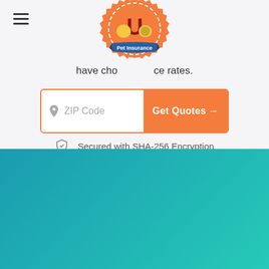[Figure (logo): Pet Insurance U logo - orange badge with letter U, cartoon dog and cat, blue ribbon banner saying Pet Insurance]
have chosen insurance rates.
[Figure (screenshot): ZIP Code input field with location pin icon and orange Get Quotes button with arrow]
Secured with SHA-256 Encryption
[Figure (logo): Pet Insurance U logo on teal gradient background - orange badge with letter U, cartoon dog and cat, blue ribbon banner saying Pet Insurance]